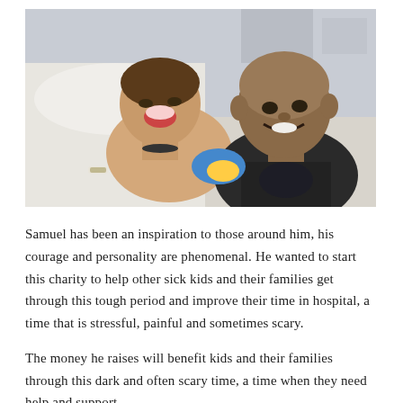[Figure (photo): A young boy lying in a hospital bed, shirtless with a medical bracelet on his wrist, laughing joyfully. A bald adult man in a dark t-shirt leans in close to him, both smiling broadly. Hospital equipment and bedding are visible in the background.]
Samuel has been an inspiration to those around him, his courage and personality are phenomenal. He wanted to start this charity to help other sick kids and their families get through this tough period and improve their time in hospital, a time that is stressful, painful and sometimes scary.
The money he raises will benefit kids and their families through this dark and often scary time, a time when they need help and support